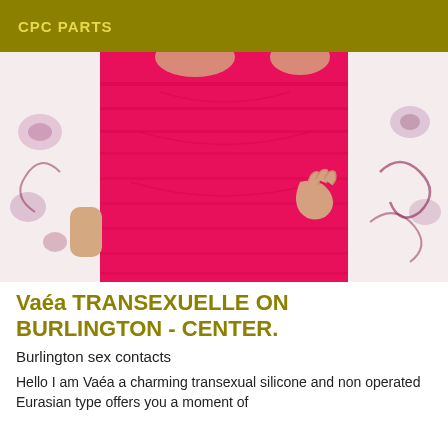CPC PARTS
[Figure (photo): A person wearing a tight pink/magenta bandage dress, hand on hip, standing in front of a floral patterned background.]
Vaéa TRANSEXUELLE ON BURLINGTON - CENTER.
Burlington sex contacts
Hello I am Vaéa a charming transexual silicone and non operated Eurasian type offers you a moment of